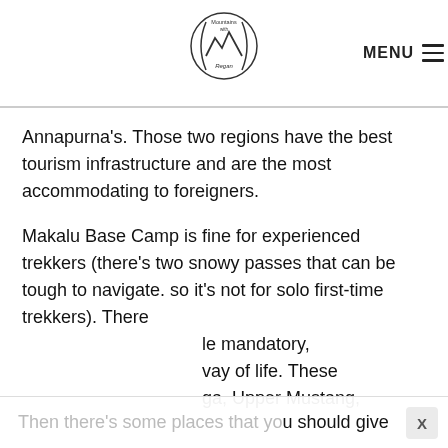Mountains with Regan | MENU
Annapurna’s. Those two regions have the best tourism infrastructure and are the most accommodating to foreigners.
Makalu Base Camp is fine for experienced trekkers (there’s two snowy passes that can be tough to navigate. so it’s not for solo first-time trekkers). There le mandatory, vay of life. These ga, Upper Mustang,
Then there’s some places that you should give